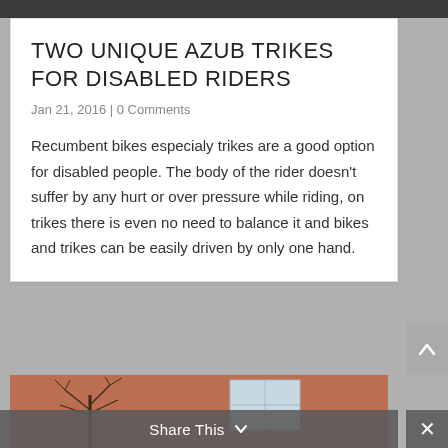[Figure (photo): Partial top image, cropped, showing outdoor/nature scene in dark tones]
TWO UNIQUE AZUB TRIKES FOR DISABLED RIDERS
Jan 21, 2016 | 0 Comments
Recumbent bikes especialy trikes are a good option for disabled people. The body of the rider doesn't suffer by any hurt or over pressure while riding, on trikes there is even no need to balance it and bikes and trikes can be easily driven by only one hand.
[Figure (photo): Outdoor photo showing a bare tree in winter against a salmon/orange building with a window, partially cropped]
Share This